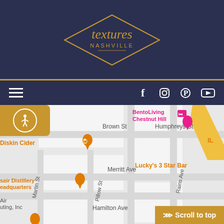[Figure (logo): Textures Nashville logo — diamond shape with 'textures' in gold serif font and 'NASHVILLE' below in smaller caps, on dark navy background]
[Figure (screenshot): Navigation bar with hamburger menu on left and social media icons (Facebook, Instagram, Pinterest, YouTube) on right, on dark navy background]
[Figure (map): Google Maps screenshot showing street map of Nashville area with streets including Brown St, Humphreys St, Merritt Ave, Hamilton Ave, Martin St, Pillow St, Rains Ave. Locations labeled: BentoLiving Chestnut Hill (pink), Diskin Cider (orange pin), Lucky's 3 Star Bar (orange), sair Distillery Headquarters (orange pin), Air uting Inc. Orange accessibility button on left edge. Scroll to top button bottom right.]